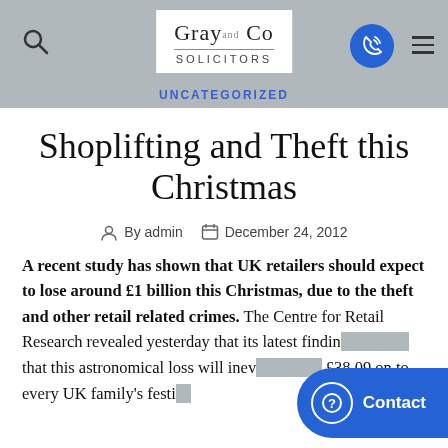Gray and Co Solicitors — UNCATEGORIZED
Shoplifting and Theft this Christmas
By admin  December 24, 2012
A recent study has shown that UK retailers should expect to lose around £1 billion this Christmas, due to the theft and other retail related crimes. The Centre for Retail Research revealed yesterday that its latest findings suggest that this astronomical loss will inevitably add £38.09 on to every UK family's festive